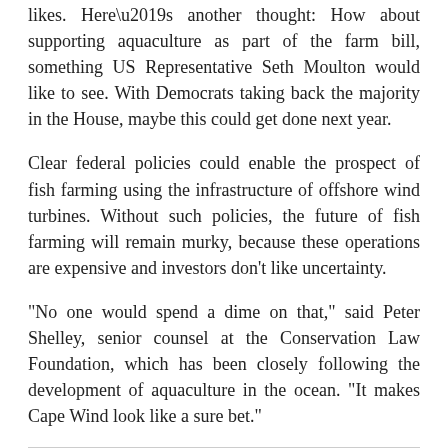likes. Here’s another thought: How about supporting aquaculture as part of the farm bill, something US Representative Seth Moulton would like to see. With Democrats taking back the majority in the House, maybe this could get done next year.
Clear federal policies could enable the prospect of fish farming using the infrastructure of offshore wind turbines. Without such policies, the future of fish farming will remain murky, because these operations are expensive and investors don’t like uncertainty.
“No one would spend a dime on that,” said Peter Shelley, senior counsel at the Conservation Law Foundation, which has been closely following the development of aquaculture in the ocean. “It makes Cape Wind look like a sure bet.”
Assume change. Farm and food policies tend to deal with what we eat and grow now, but climate change should end that way of thinking. The government and industry need to anticipate disruption, and be ready to adapt, rather than pour money into trying to preserve vanishing industries that can’t be sustained any longer.